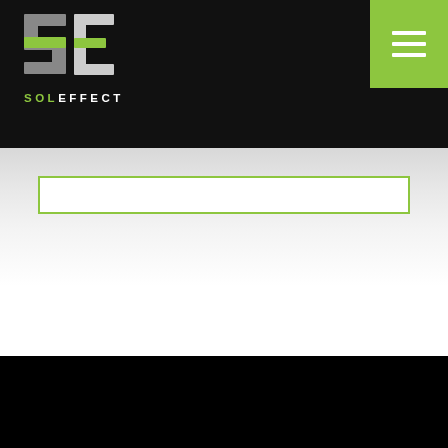[Figure (logo): SolEffect logo with stylized 'SE' icon in green and grey on black background, with text 'SOLEFFECT' below]
[Figure (other): Green hamburger menu button in top-right corner]
[Figure (other): Green-bordered input field/form element on light grey gradient background]
[Figure (other): Black cityscape silhouette of rooftops at the bottom of the page]